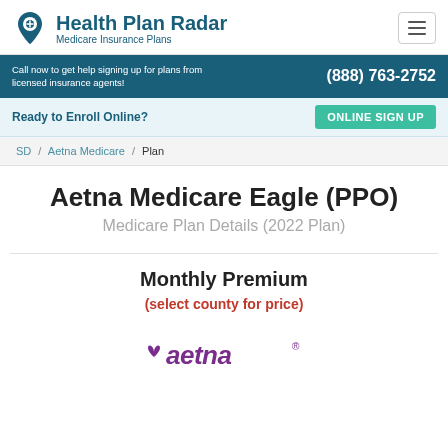Health Plan Radar — Medicare Insurance Plans
Call now to get help signing up for plans from licensed insurance agents! (888) 763-2752
Ready to Enroll Online? ONLINE SIGN UP
SD / Aetna Medicare / Plan
Aetna Medicare Eagle (PPO)
Medicare Plan Details (2022 Plan)
Monthly Premium
(select county for price)
[Figure (logo): Aetna logo with purple heart and italic aetna wordmark]